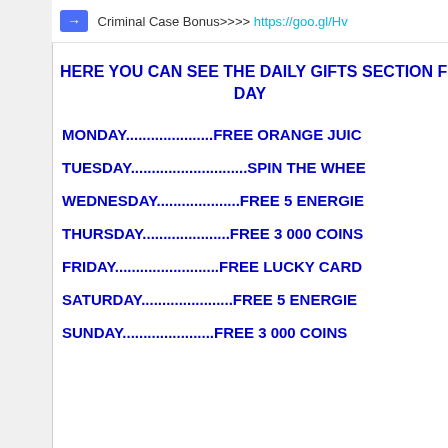→ · Criminal Case Bonus>>>> https://goo.gl/Hv...
HERE YOU CAN SEE THE DAILY GIFTS SECTION FROM CRIMINAL CASE EVERY DAY
MONDAY.......................FREE ORANGE JUIC...
TUESDAY.............................SPIN THE WHEE...
WEDNESDAY......................FREE 5 ENERGIE...
THURSDAY.......................FREE 3 000 COINS...
FRIDAY..........................FREE LUCKY CARD...
SATURDAY.......................FREE 5 ENERGIE...
SUNDAY.......................FREE 3 000 COINS...